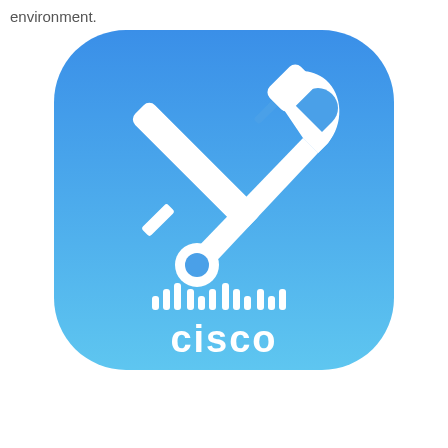environment.
[Figure (logo): Cisco tools app icon: a rounded-square gradient background from blue (top) to lighter blue (bottom), with a white screwdriver and wrench crossed in the center, and the Cisco logo (bars + 'cisco' text) at the bottom.]